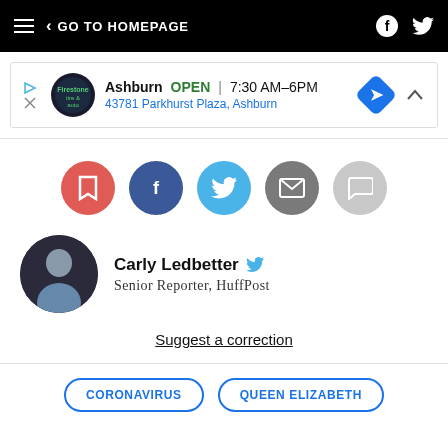GO TO HOMEPAGE
[Figure (other): Advertisement banner for Ashburn auto service: OPEN 7:30 AM–6PM, 43781 Parkhurst Plaza, Ashburn]
[Figure (infographic): Social share buttons: bookmark (red), Facebook (dark blue), Twitter (light blue), email (gray), comment (light gray)]
Carly Ledbetter  Senior Reporter, HuffPost
Suggest a correction
CORONAVIRUS
QUEEN ELIZABETH